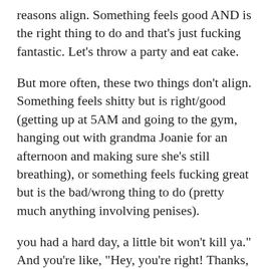reasons align. Something feels good AND is the right thing to do and that's just fucking fantastic. Let's throw a party and eat cake.
But more often, these two things don't align. Something feels shitty but is right/good (getting up at 5AM and going to the gym, hanging out with grandma Joanie for an afternoon and making sure she's still breathing), or something feels fucking great but is the bad/wrong thing to do (pretty much anything involving penises).
you had a hard day, a little bit won't kill ya." And you're like, "Hey, you're right! Thanks, brain!" What feels good suddenly feels right. And then you shamelessly inhale a pint of Cherry Garcia.